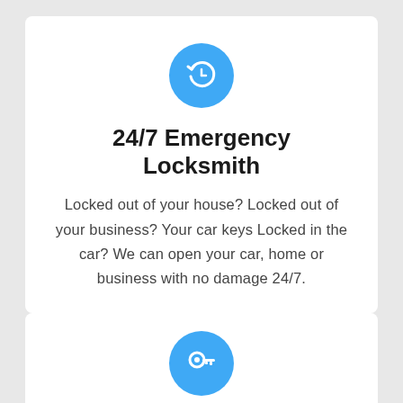[Figure (illustration): Blue circle icon with a white clock/history/refresh symbol (circular arrow with clock hands)]
24/7 Emergency Locksmith
Locked out of your house? Locked out of your business? Your car keys Locked in the car? We can open your car, home or business with no damage 24/7.
[Figure (illustration): Blue circle icon with a white key symbol]